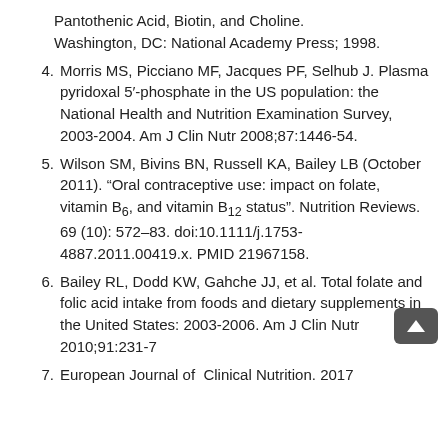Pantothenic Acid, Biotin, and Choline. Washington, DC: National Academy Press; 1998.
4. Morris MS, Picciano MF, Jacques PF, Selhub J. Plasma pyridoxal 5'-phosphate in the US population: the National Health and Nutrition Examination Survey, 2003-2004. Am J Clin Nutr 2008;87:1446-54.
5. Wilson SM, Bivins BN, Russell KA, Bailey LB (October 2011). "Oral contraceptive use: impact on folate, vitamin B6, and vitamin B12 status". Nutrition Reviews. 69 (10): 572–83. doi:10.1111/j.1753-4887.2011.00419.x. PMID 21967158.
6. Bailey RL, Dodd KW, Gahche JJ, et al. Total folate and folic acid intake from foods and dietary supplements in the United States: 2003-2006. Am J Clin Nutr 2010;91:231-7
7. European Journal of Clinical Nutrition. 2017